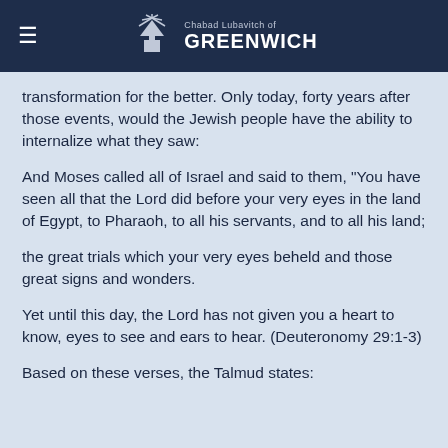Chabad Lubavitch of GREENWICH
transformation for the better. Only today, forty years after those events, would the Jewish people have the ability to internalize what they saw:
And Moses called all of Israel and said to them, "You have seen all that the Lord did before your very eyes in the land of Egypt, to Pharaoh, to all his servants, and to all his land;
the great trials which your very eyes beheld and those great signs and wonders.
Yet until this day, the Lord has not given you a heart to know, eyes to see and ears to hear. (Deuteronomy 29:1-3)
Based on these verses, the Talmud states: